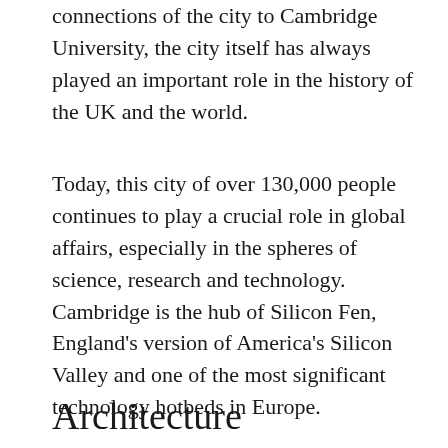connections of the city to Cambridge University, the city itself has always played an important role in the history of the UK and the world.
Today, this city of over 130,000 people continues to play a crucial role in global affairs, especially in the spheres of science, research and technology. Cambridge is the hub of Silicon Fen, England's version of America's Silicon Valley and one of the most significant technology hotbeds in Europe.
Architecture